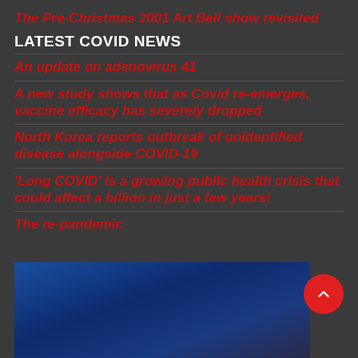The Pre-Christmas 2001 Art Bell show revisited
LATEST COVID NEWS
An update on adenovirus 41
A new study shows that as Covid re-emerges, vaccine efficacy has severely dropped
North Korea reports outbreak of unidentified disease alongside COVID-19
'Long COVID' is a growing public health crisis that could affect a billion in just a few years!
The re-pandemic
[Figure (photo): Blue gradient image, partially visible at bottom of page]